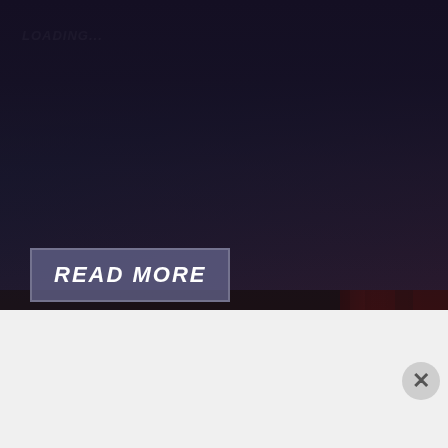LOADING...
READ MORE
[Figure (photo): Person in white suit sitting on checkered floor in a dimly lit, ornate room with red curtains and vintage furniture]
Advertisement
[Figure (photo): Seamless food delivery advertisement banner showing pizza slices on left, Seamless red logo badge in center, and ORDER NOW button on right]